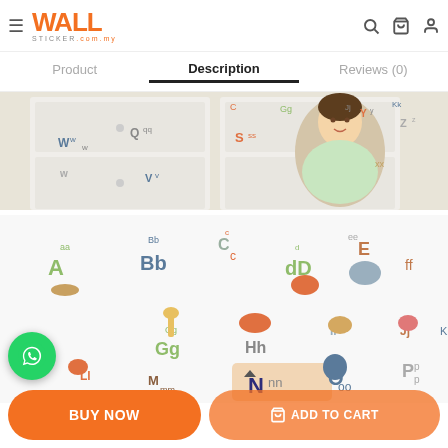WallSticker.com.my — Navigation bar with hamburger menu, logo, search, cart, and profile icons
Product | Description | Reviews (0)
[Figure (photo): Child sitting in front of white drawers decorated with alphabet animal wall stickers (Ww, Qq, Vv, Ss, Yy, Zz, xx letters visible)]
[Figure (photo): Flat lay of alphabet animal wall stickers showing letters Aa, Bb, Cc, Dd, Ee, Ff, Gg, Hh, Ii, Jj, Kk, Ll, Mm, Nn, Oo, Pp with cute animal illustrations]
[Figure (logo): WhatsApp contact button (green circle with phone icon)]
BUY NOW
ADD TO CART